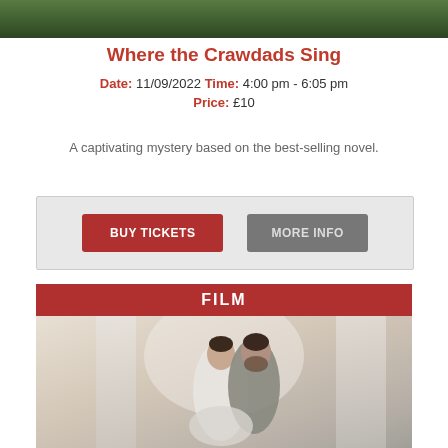[Figure (photo): Top portion of an outdoor photo, showing greenery/foliage background]
Where the Crawdads Sing
Date: 11/09/2022 Time: 4:00 pm - 6:05 pm
Price: £10
A captivating mystery based on the best-selling novel.
BUY TICKETS   MORE INFO
FILM
[Figure (photo): A couple embracing — a woman in a white dress and a bearded man in a grey suit, photographed indoors with soft light and curtains in the background]